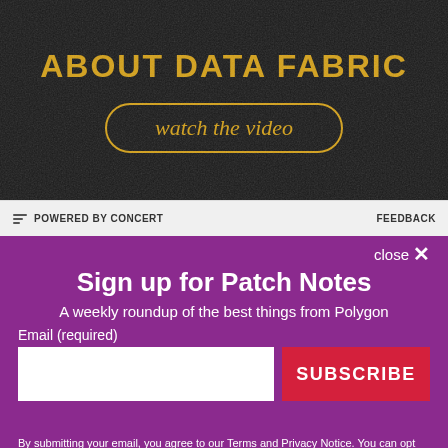[Figure (screenshot): Dark background ad banner with gold text 'ABOUT DATA FABRIC' and a gold-outlined rounded button 'watch the video']
POWERED BY CONCERT   FEEDBACK
close ✕
Sign up for Patch Notes
A weekly roundup of the best things from Polygon
Email (required)
SUBSCRIBE
By submitting your email, you agree to our Terms and Privacy Notice. You can opt out at any time. This site is protected by reCAPTCHA and the Google Privacy Policy and Terms of Service apply.